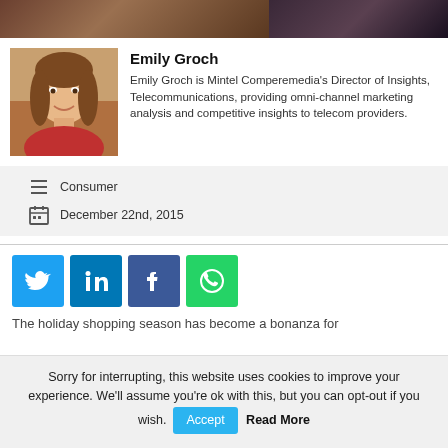[Figure (photo): Top banner image showing a blurred indoor background, split into brownish and dark purple sections]
[Figure (photo): Portrait photo of Emily Groch, a woman with brown hair smiling, wearing a red top]
Emily Groch
Emily Groch is Mintel Comperemedia's Director of Insights, Telecommunications, providing omni-channel marketing analysis and competitive insights to telecom providers.
Consumer
December 22nd, 2015
[Figure (infographic): Social share buttons: Twitter (blue), LinkedIn (blue), Facebook (dark blue), WhatsApp (green)]
The holiday shopping season has become a bonanza for
Sorry for interrupting, this website uses cookies to improve your experience. We'll assume you're ok with this, but you can opt-out if you wish.